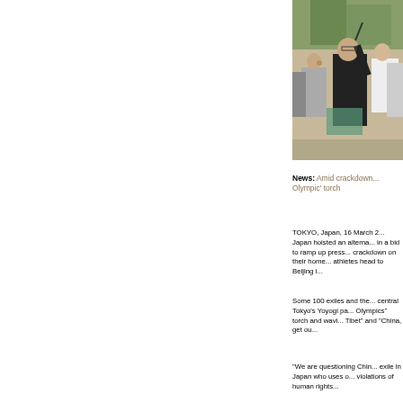[Figure (photo): People at a protest rally in Tokyo, one person in dark clothing raising their arm, others around them in a park setting]
News: Amid crackdown... Olympic' torch
TOKYO, Japan, 16 March 2... Japan hoisted an alterna... in a bid to ramp up press... crackdown on their home... athletes head to Beijing i...
Some 100 exiles and the... central Tokyo's Yoyogi pa... Olympics" torch and wavi... Tibet" and "China, get ou...
"We are questioning Chin... exile in Japan who uses o... violations of human rights...